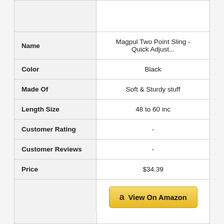|  |  |
| --- | --- |
| Name | Magpul Two Point Sling - Quick Adjust... |
| Color | Black |
| Made Of | Soft & Sturdy stuff |
| Length Size | 48 to 60 inc |
| Customer Rating | - |
| Customer Reviews | - |
| Price | $34.39 |
|  | View On Amazon |